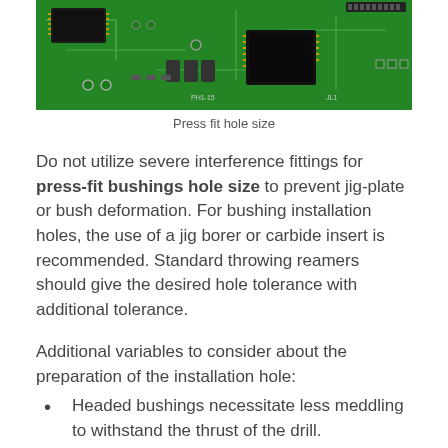[Figure (photo): Close-up photograph of a green printed circuit board (PCB) showing electronic components, ICs, connectors, and traces.]
Press fit hole size
Do not utilize severe interference fittings for press-fit bushings hole size to prevent jig-plate or bush deformation. For bushing installation holes, the use of a jig borer or carbide insert is recommended. Standard throwing reamers should give the desired hole tolerance with additional tolerance.
Additional variables to consider about the preparation of the installation hole:
Headed bushings necessitate less meddling to withstand the thrust of the drill.